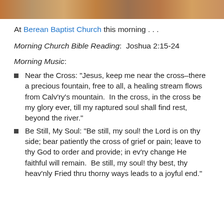[Figure (photo): A partial photo strip at the top of the page showing people in warm tones]
At Berean Baptist Church this morning . . .
Morning Church Bible Reading:  Joshua 2:15-24
Morning Music:
Near the Cross: “Jesus, keep me near the cross–there a precious fountain, free to all, a healing stream flows from Calv’ry’s mountain.  In the cross, in the cross be my glory ever, till my raptured soul shall find rest, beyond the river.”
Be Still, My Soul: “Be still, my soul! the Lord is on thy side; bear patiently the cross of grief or pain; leave to thy God to order and provide; in ev’ry change He faithful will remain.  Be still, my soul! thy best, thy heav’nly Fried thru thorny ways leads to a joyful end.”